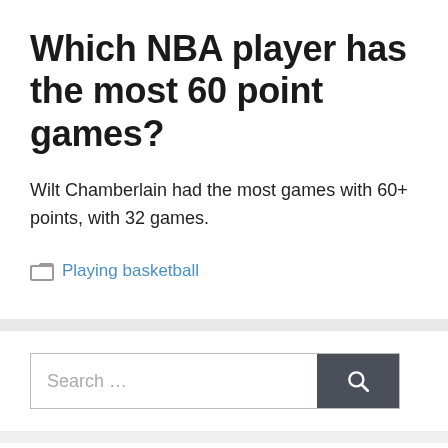Which NBA player has the most 60 point games?
Wilt Chamberlain had the most games with 60+ points, with 32 games.
Playing basketball
Search …
About the author